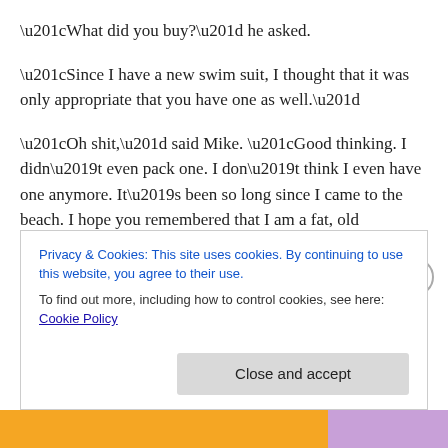“What did you buy?” he asked.
“Since I have a new swim suit, I thought that it was only appropriate that you have one as well.”
“Oh shit,” said Mike. “Good thinking. I didn’t even pack one. I don’t think I even have one anymore. It’s been so long since I came to the beach. I hope you remembered that I am a fat, old man.”
“I don’t believe that you are fat or old,” said Patience, with a frown. “The average lifespan in the United States is
Privacy & Cookies: This site uses cookies. By continuing to use this website, you agree to their use.
To find out more, including how to control cookies, see here: Cookie Policy
Close and accept